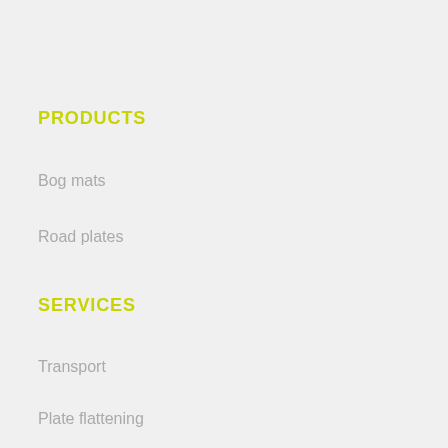PRODUCTS
Bog mats
Road plates
SERVICES
Transport
Plate flattening
INFORMATION